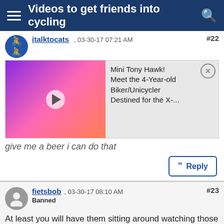Videos to get friends into cycling
#22
italktocats , 03-30-17 07:21 AM
[Figure (screenshot): Video thumbnail of a child in pink helmet and outfit riding a bike, with overlay showing video title: Mini Tony Hawk! Meet the 4-Year-old Biker/Unicycler Destined for the X-...]
give me a beer i can do that
Reply
#23
fietsbob , 03-30-17 08:10 AM
Banned
At least you will have them sitting around watching those videos on their phone using the WiFi at the Bar.